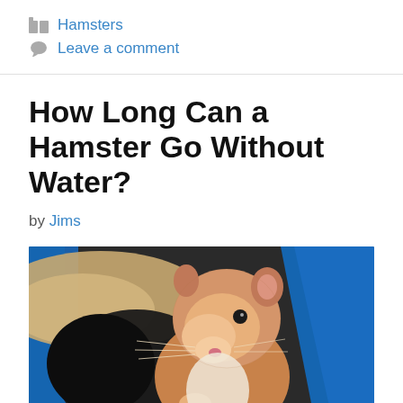Hamsters
Leave a comment
How Long Can a Hamster Go Without Water?
by Jims
[Figure (photo): A golden/Syrian hamster peering out from inside a blue plastic container or wheel, with bedding visible in the background. The hamster is looking upward with its front paws raised.]